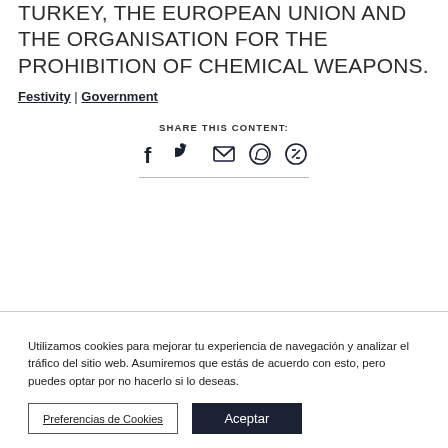TURKEY, THE EUROPEAN UNION AND THE ORGANISATION FOR THE PROHIBITION OF CHEMICAL WEAPONS.
Festivity | Government
SHARE THIS CONTENT:
[Figure (infographic): Social share icons: Facebook, Twitter, Email, WhatsApp, Link]
Utilizamos cookies para mejorar tu experiencia de navegación y analizar el tráfico del sitio web. Asumiremos que estás de acuerdo con esto, pero puedes optar por no hacerlo si lo deseas.
Preferencias de Cookies | Aceptar